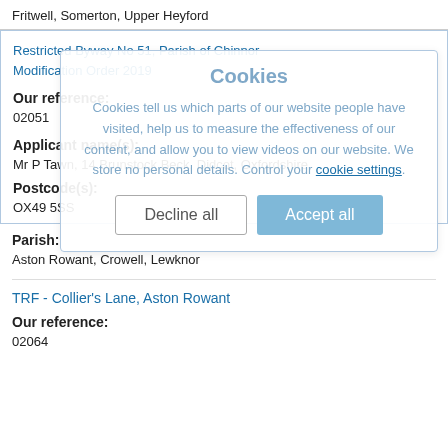Fritwell, Somerton, Upper Heyford
Restricted Byway No 51, Parish of Chinnor Modification Order 2019
Our reference:
02051
Applicant name(s):
Mr P Tawn, 14 Brunstock Beck, Didcot, Oxfordshire,
Postcode(s):
OX49 5SS
Parish:
Aston Rowant, Crowell, Lewknor
TRF - Collier's Lane, Aston Rowant
Our reference:
02064